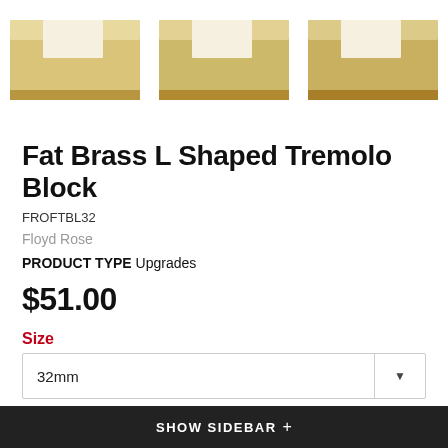[Figure (photo): Three brass L-shaped tremolo blocks shown side by side on white background]
Fat Brass L Shaped Tremolo Block
FROFTBL32
Floyd Rose
PRODUCT TYPE Upgrades
$51.00
Size
32mm
Quantity:
SHOW SIDEBAR +